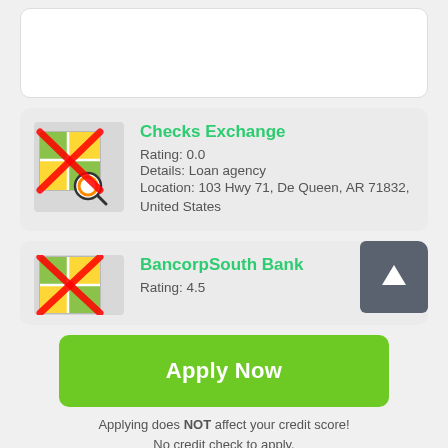[Figure (screenshot): Top card partial view, white card with rounded corners, empty content visible]
Checks Exchange
Rating: 0.0
Details: Loan agency
Location: 103 Hwy 71, De Queen, AR 71832, United States
BancorpSouth Bank
Rating: 4.5
Apply Now
Applying does NOT affect your credit score!
No credit check to apply.